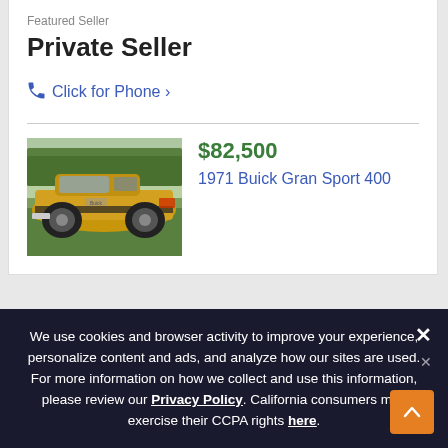Featured Seller
Private Seller
Click for Phone ›
[Figure (photo): Yellow 1971 Buick Gran Sport 400 muscle car photographed from rear-side angle on grass]
$82,500
1971 Buick Gran Sport 400
Advertisement
We use cookies and browser activity to improve your experience, personalize content and ads, and analyze how our sites are used. For more information on how we collect and use this information, please review our Privacy Policy. California consumers may exercise their CCPA rights here.